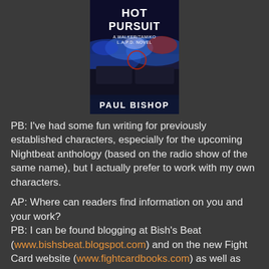[Figure (illustration): Book cover of 'Hot Pursuit: A Walker/Tamiko L.A.P.D. Novel' by Paul Bishop, showing police lights and a dark scene with the author's name at the bottom.]
PB: I've had some fun writing for previously established characters, especially for the upcoming Nightbeat anthology (based on the radio show of the same name), but I actually prefer to work with my own characters.
AP: Where can readers find information on you and your work?
PB: I can be found blogging at Bish's Beat (www.bishsbeat.blogspot.com) and on the new Fight Card website (www.fightcardbooks.com) as well as Facebook and Twitter (@bishsbeat).
AP: What upcoming projects do you have coming up that